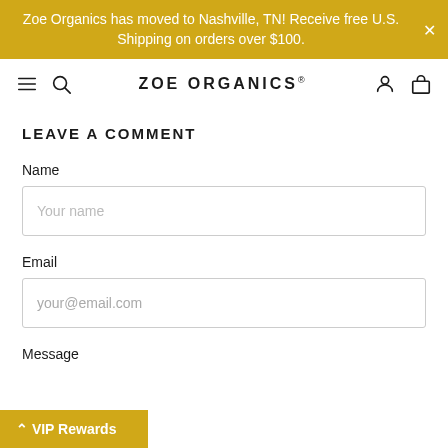Zoe Organics has moved to Nashville, TN! Receive free U.S. Shipping on orders over $100.
ZOE ORGANICS®
LEAVE A COMMENT
Name
Your name
Email
your@email.com
Message
VIP Rewards